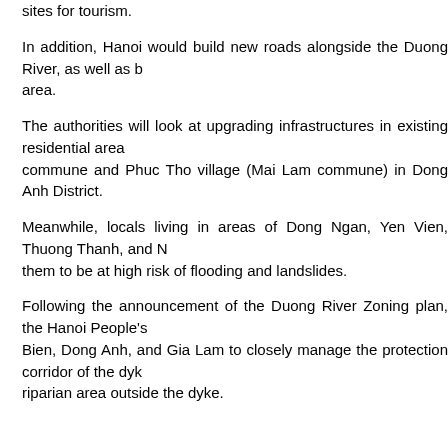The available land portions in this area would be used for tree planting, as the sites for tourism.
In addition, Hanoi would build new roads alongside the Duong River, as well as build other infrastructure in the area.
The authorities will look at upgrading infrastructures in existing residential areas, such as Van Ha commune and Phuc Tho village (Mai Lam commune) in Dong Anh District.
Meanwhile, locals living in areas of Dong Ngan, Yen Vien, Thuong Thanh, and Nguyen communes are considered them to be at high risk of flooding and landslides.
Following the announcement of the Duong River Zoning plan, the Hanoi People's Committee asked districts of Long Bien, Dong Anh, and Gia Lam to closely manage the protection corridor of the dyke, and control construction in the riparian area outside the dyke.
Latest news
Hanoi takes measures to stabilize prices of essential goods (17:43 30/08/2022)
Hanoi issues commune-level PAR index framework (17:42 30/08/2022)
Hanoi aims to enhance PCI 2022 performance (19:45 25/08/2022)
Hanoi promotes cultural industry development (20:06 16/08/2022)
Hanoi sets nation-wide benchmark for (18:34 15/08/2022)